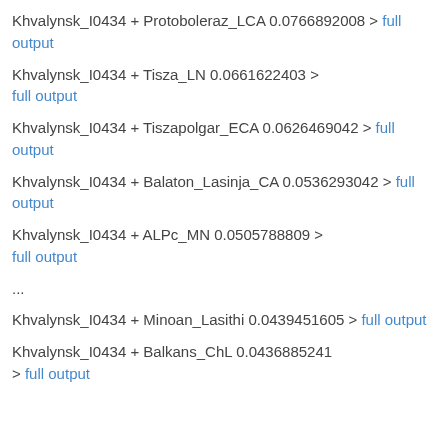Khvalynsk_I0434 + Protoboleraz_LCA 0.0766892008 > full output
Khvalynsk_I0434 + Tisza_LN 0.0661622403 > full output
Khvalynsk_I0434 + Tiszapolgar_ECA 0.0626469042 > full output
Khvalynsk_I0434 + Balaton_Lasinja_CA 0.0536293042 > full output
Khvalynsk_I0434 + ALPc_MN 0.0505788809 > full output
...
Khvalynsk_I0434 + Minoan_Lasithi 0.0439451605 > full output
Khvalynsk_I0434 + Balkans_ChL 0.0436885241 > full output